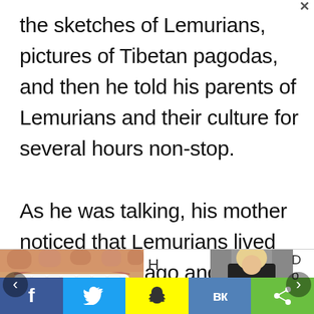the sketches of Lemurians, pictures of Tibetan pagodas, and then he told his parents of Lemurians and their culture for several hours non-stop.

As he was talking, his mother noticed that Lemurians lived 70,000 years ago and they were nine meters tall... "How
[Figure (photo): Close-up photo of teeth and fingers]
H er e...
[Figure (photo): Photo of a woman in black top]
D o
f  [Twitter bird icon]  [Snapchat ghost icon]  VK  [share icon]